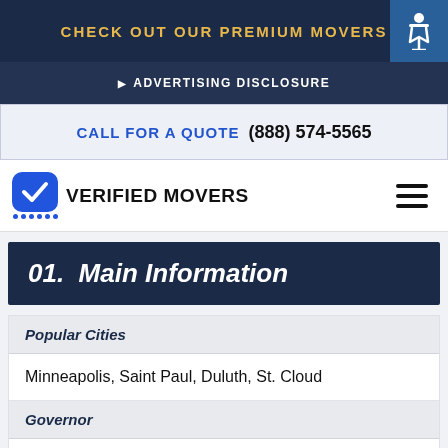CHECK OUT OUR PREMIUM MOVERS
ADVERTISING DISCLOSURE
CALL FOR A QUOTE (888) 574-5565
[Figure (logo): Verified Movers logo with blue checkmark icon and hamburger menu]
01.  Main Information
Popular Cities
Minneapolis, Saint Paul, Duluth, St. Cloud
Governor
Tim Walz
US Senators